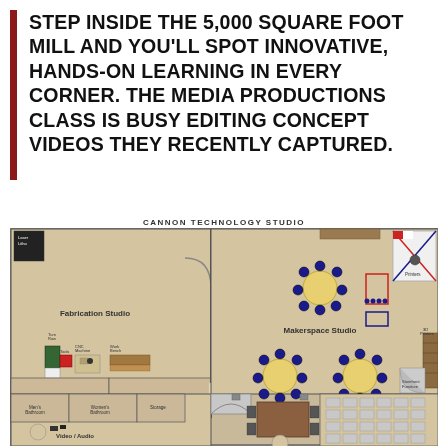STEP INSIDE THE 5,000 SQUARE FOOT MILL AND YOU'LL SPOT INNOVATIVE, HANDS-ON LEARNING IN EVERY CORNER. THE MEDIA PRODUCTIONS CLASS IS BUSY EDITING CONCEPT VIDEOS THEY RECENTLY CAPTURED.
[Figure (engineering-diagram): Floor plan of Cannon Technology Studio showing Fabrication Studio, Makerspace Studio, Video/Audio area, with furniture, workstations, round tables with chairs, storage, and various labeled rooms.]